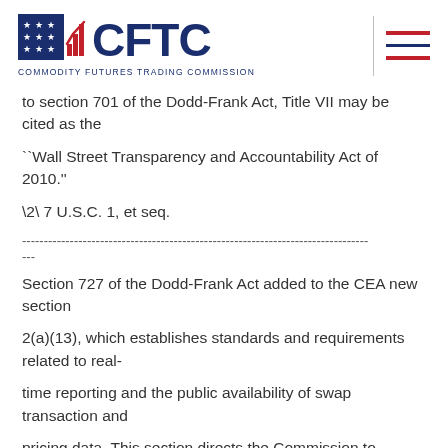CFTC - COMMODITY FUTURES TRADING COMMISSION
to section 701 of the Dodd-Frank Act, Title VII may be cited as the
``Wall Street Transparency and Accountability Act of 2010.''
\2\ 7 U.S.C. 1, et seq.
------------------------------------------------------------------------
---
Section 727 of the Dodd-Frank Act added to the CEA new section
2(a)(13), which establishes standards and requirements related to real-
time reporting and the public availability of swap transaction and
pricing data. This section directs the Commission to promulgate rules
providing for the public availability of such data in real-time \3\ in